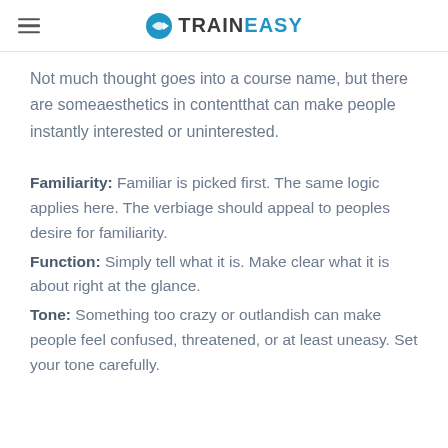TrainEasy
Not much thought goes into a course name, but there are someaesthetics in contentthat can make people instantly interested or uninterested.
Familiarity: Familiar is picked first. The same logic applies here. The verbiage should appeal to peoples desire for familiarity.
Function: Simply tell what it is. Make clear what it is about right at the glance.
Tone: Something too crazy or outlandish can make people feel confused, threatened, or at least uneasy. Set your tone carefully.